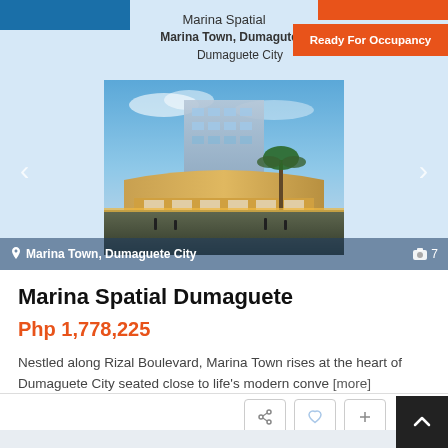Marina Spatial
Marina Town, Dumagute
Dumaguete City
Ready For Occupancy
[Figure (photo): Exterior rendering of Marina Town mixed-use development at dusk, showing multi-story building with palm trees and commercial areas]
Marina Town, Dumaguete City
7
Marina Spatial Dumaguete
Php 1,778,225
Nestled along Rizal Boulevard, Marina Town rises at the heart of Dumaguete City seated close to life's modern conve [more]